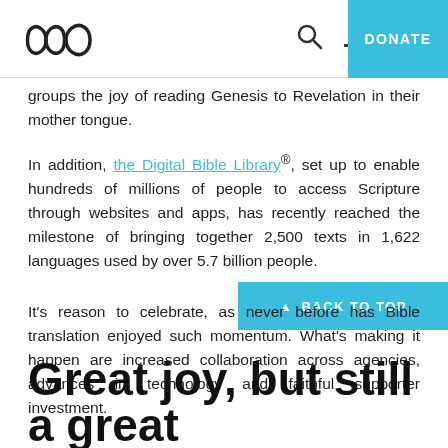[Figure (logo): Infinity loop / figure-eight logo mark in black outline]
[Figure (other): Search icon (magnifying glass)]
[Figure (other): Horizontal dash / menu icon]
DONATE
groups the joy of reading Genesis to Revelation in their mother tongue.
In addition, the Digital Bible Library®, set up to enable hundreds of millions of people to access Scripture through websites and apps, has recently reached the milestone of bringing together 2,500 texts in 1,622 languages used by over 5.7 billion people.
↑  BACK TO TOP
It's reason to celebrate, as never before has Bible translation enjoyed such momentum. What's making it happen are increased collaboration across agencies, advances in technology and faithful supporter investment.
Great joy, but still a great